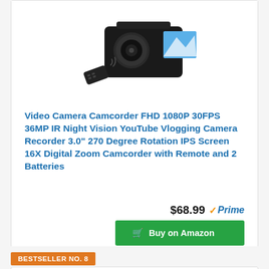[Figure (photo): Product photo of a video camera camcorder with remote control shown above the product card]
Video Camera Camcorder FHD 1080P 30FPS 36MP IR Night Vision YouTube Vlogging Camera Recorder 3.0" 270 Degree Rotation IPS Screen 16X Digital Zoom Camcorder with Remote and 2 Batteries
$68.99 ✓Prime
Buy on Amazon
BESTSELLER NO. 8
[Figure (photo): Product photo of accessories for a video camera including a microphone/shotgun attachment, viewfinder, and two batteries]